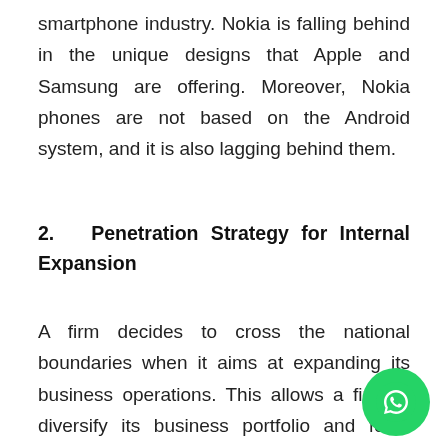smartphone industry. Nokia is falling behind in the unique designs that Apple and Samsung are offering. Moreover, Nokia phones are not based on the Android system, and it is also lagging behind them.
2.   Penetration Strategy for Internal Expansion
A firm decides to cross the national boundaries when it aims at expanding its business operations. This allows a firm to diversify its business portfolio and fetch growth from different markets. The followings are the strategies for